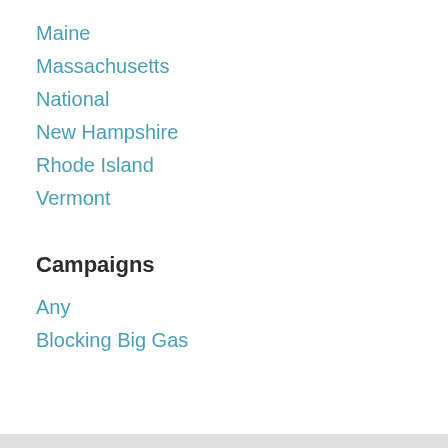Maine
Massachusetts
National
New Hampshire
Rhode Island
Vermont
Campaigns
Any
Blocking Big Gas